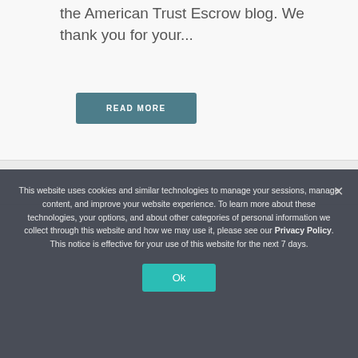the American Trust Escrow blog. We thank you for your...
READ MORE
24 Feb
Concierge
Services
This website uses cookies and similar technologies to manage your sessions, manage content, and improve your website experience. To learn more about these technologies, your options, and about other categories of personal information we collect through this website and how we may use it, please see our Privacy Policy. This notice is effective for your use of this website for the next 7 days.
Ok